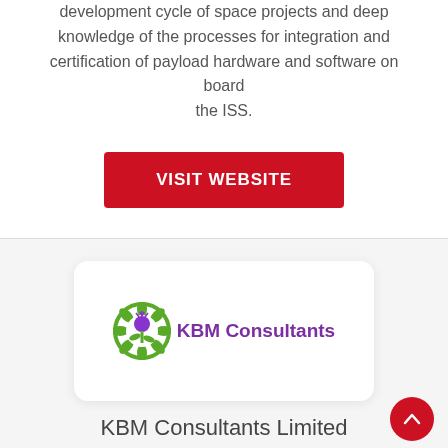development cycle of space projects and deep knowledge of the processes for integration and certification of payload hardware and software on board the ISS.
[Figure (other): Red 'VISIT WEBSITE' button]
[Figure (logo): KBM Consultants logo — thistle icon in green and purple with text 'KBM Consultants' in purple, displayed inside a white rounded card]
KBM Consultants Limited